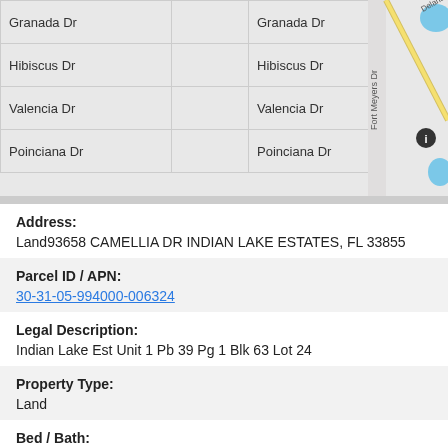[Figure (map): Street map showing Granada Dr, Hibiscus Dr, Valencia Dr, Poinciana Dr with Fort Meyers Dr, Deland Ave, and a water body visible. Map info button visible.]
Address:
Land93658 CAMELLIA DR INDIAN LAKE ESTATES, FL 33855
Parcel ID / APN:
30-31-05-994000-006324
Legal Description:
Indian Lake Est Unit 1 Pb 39 Pg 1 Blk 63 Lot 24
Property Type:
Land
Bed / Bath: